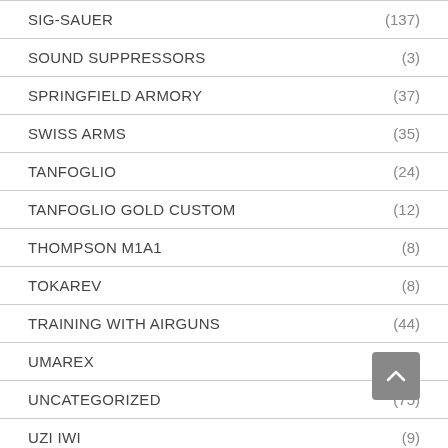SIG-SAUER (137)
SOUND SUPPRESSORS (3)
SPRINGFIELD ARMORY (37)
SWISS ARMS (35)
TANFOGLIO (24)
TANFOGLIO GOLD CUSTOM (12)
THOMPSON M1A1 (8)
TOKAREV (8)
TRAINING WITH AIRGUNS (44)
UMAREX (309)
UNCATEGORIZED (75)
UZI IWI (9)
WALTHER (54)